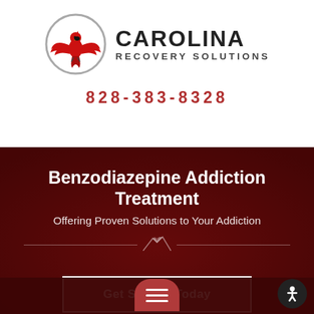[Figure (logo): Carolina Recovery Solutions logo — red cardinal bird inside a grey circle, with 'CAROLINA RECOVERY SOLUTIONS' text to the right]
828-383-8328
Benzodiazepine Addiction Treatment
Offering Proven Solutions to Your Addiction
Get Started Today